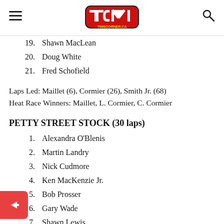TCM timscorner.ca
19.  Shawn MacLean
20.  Doug White
21.  Fred Schofield
Laps Led: Maillet (6), Cormier (26), Smith Jr. (68)
Heat Race Winners: Maillet, L. Cormier, C. Cormier
PETTY STREET STOCK (30 laps)
1.  Alexandra O'Blenis
2.  Martin Landry
3.  Nick Cudmore
4.  Ken MacKenzie Jr.
5.  Bob Prosser
6.  Gary Wade
7.  Shawn Lewis